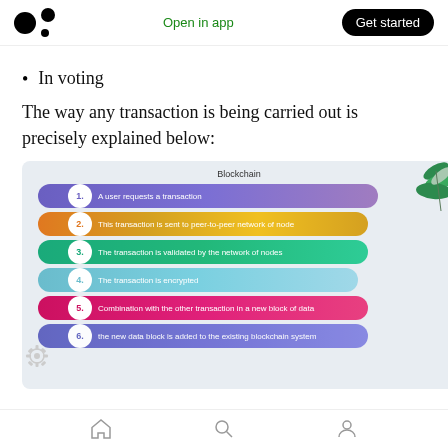Medium logo | Open in app | Get started
In voting
The way any transaction is being carried out is precisely explained below:
[Figure (infographic): Blockchain transaction process infographic showing 6 numbered steps: 1. A user requests a transaction, 2. This transaction is sent to peer-to-peer network of node, 3. The transaction is validated by the network of nodes, 4. The transaction is encrypted, 5. Combination with the other transaction in a new block of data, 6. the new data block is added to the existing blockchain system. Each step shown as a colored pill/bar with a numbered circle on the left.]
Home | Search | Profile